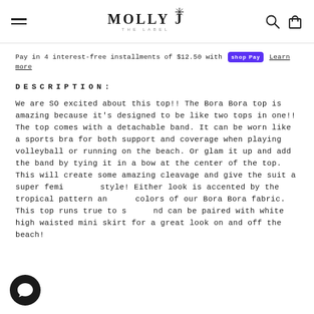MOLLY J THE LABEL — navigation header with hamburger menu, search, and cart icons
Pay in 4 interest-free installments of $12.50 with Shop Pay Learn more
DESCRIPTION:
We are SO excited about this top!! The Bora Bora top is amazing because it's designed to be like two tops in one!! The top comes with a detachable band. It can be worn like a sports bra for both support and coverage when playing volleyball or running on the beach. Or glam it up and add the band by tying it in a bow at the center of the top. This will create some amazing cleavage and give the suit a super feminine style! Either look is accented by the tropical pattern and colors of our Bora Bora fabric. This top runs true to size and can be paired with white high waisted mini skirt for a great look on and off the beach!